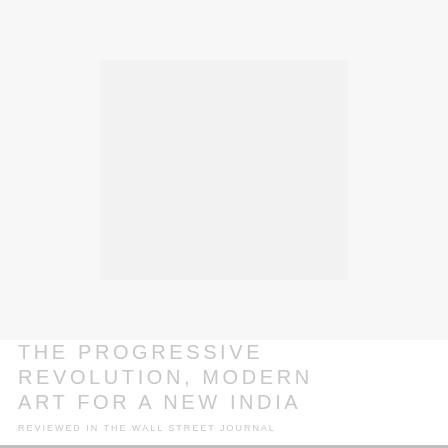[Figure (photo): Large photograph area occupying most of the page, appearing mostly white/very light — a washed out or nearly blank image area]
THE PROGRESSIVE REVOLUTION, MODERN ART FOR A NEW INDIA
REVIEWED IN THE WALL STREET JOURNAL